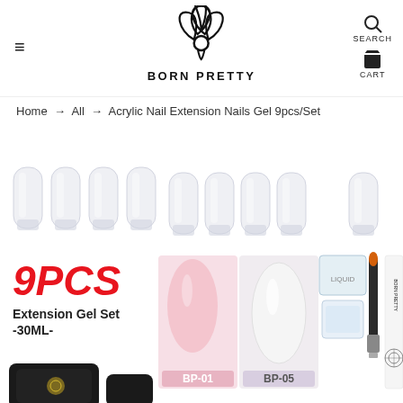BORN PRETTY — Navigation header with hamburger menu, logo, search and cart icons
Home → All → Acrylic Nail Extension Nails Gel 9pcs/Set
[Figure (photo): Product photo of Born Pretty Acrylic Nail Extension Nails Gel 9pcs/Set showing nail tips, pink and white gel swatches labeled BP-01 and BP-05, crystal dappen dish, nail art brush, and Born Pretty nail file. Text overlay reads '9PCS Extension Gel Set -30ML-']
9PCS Extension Gel Set -30ML-